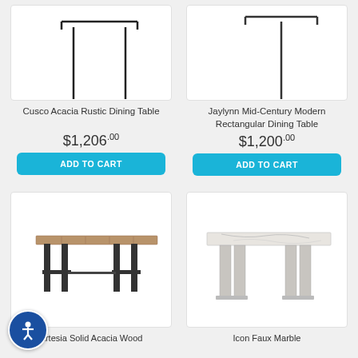[Figure (photo): Cusco Acacia Rustic Dining Table product image on white background with partial view of table legs]
[Figure (photo): Jaylynn Mid-Century Modern Rectangular Dining Table product image on white background with partial view of table top and legs]
Cusco Acacia Rustic Dining Table
$1,206.00
ADD TO CART
Jaylynn Mid-Century Modern Rectangular Dining Table
$1,200.00
ADD TO CART
[Figure (photo): Artesia Solid Acacia Wood dining table with dark metal base on white background]
[Figure (photo): Icon Faux Marble dining table on white background]
Artesia Solid Acacia Wood
Icon Faux Marble